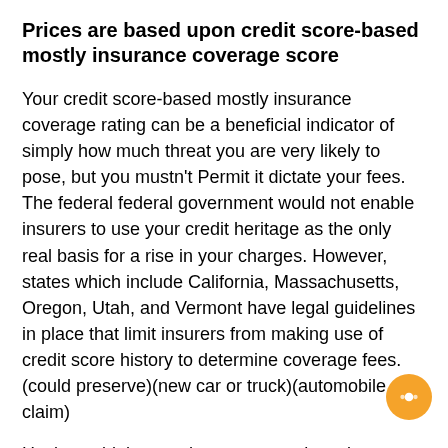Prices are based upon credit score-based mostly insurance coverage score
Your credit score-based mostly insurance coverage rating can be a beneficial indicator of simply how much threat you are very likely to pose, but you mustn't Permit it dictate your fees. The federal federal government would not enable insurers to use your credit heritage as the only real basis for a rise in your charges. However, states which include California, Massachusetts, Oregon, Utah, and Vermont have legal guidelines in place that limit insurers from making use of credit score history to determine coverage fees.(could preserve)(new car or truck)(automobile claim)
Having said that, such a coverage doesn't implement to each condition, so people don't have any way to determine if an organization is utilizing your score to decide the amount of to cost them. Some states, which include California, Hawaii, Massachusetts, and Michigan, do ban credit score-based mostly insurance. Many other states even have limitations